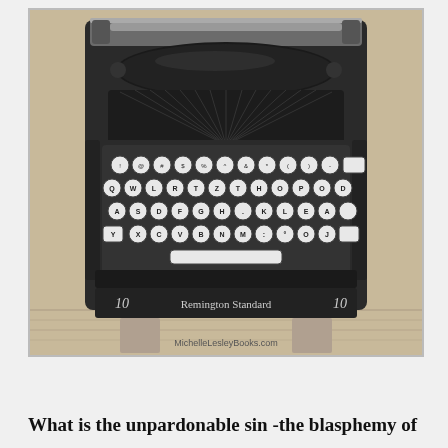[Figure (photo): Black and white / sepia photograph of a vintage Remington Standard 10 typewriter on a wooden surface, viewed from above-front showing the keyboard with round keys and the type mechanism. Watermark text 'MichelleLesleyBooks.com' at the bottom of the image.]
What is the unpardonable sin -the blasphemy of